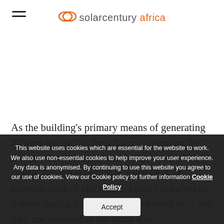solarcentury africa
As the building's primary means of generating its own electricity, the solar pv system on the roof needs to be as efficient as possible. This system has the potential to generate 3.74 kilowatt peak of electricity. Ideally installed on a south-facing pitched roof... replaced... and they are installed in the same way... photovoltaic cells integrated into their construction.
This website uses cookies which are essential for the website to work. We also use non-essential cookies to help improve your user experience. Any data is anonymised. By continuing to use this website you agree to our use of cookies. View our Cookie policy for further information Cookie Policy  Accept